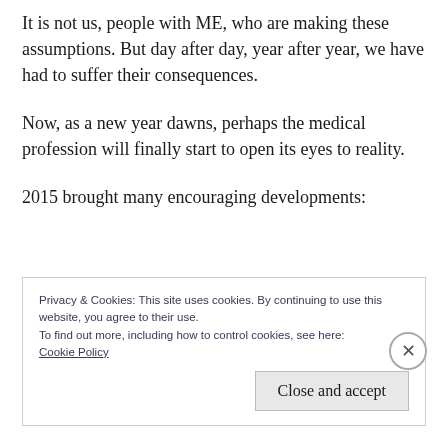It is not us, people with ME, who are making these assumptions. But day after day, year after year, we have had to suffer their consequences.
Now, as a new year dawns, perhaps the medical profession will finally start to open its eyes to reality.
2015 brought many encouraging developments:
Privacy & Cookies: This site uses cookies. By continuing to use this website, you agree to their use.
To find out more, including how to control cookies, see here:
Cookie Policy
Close and accept